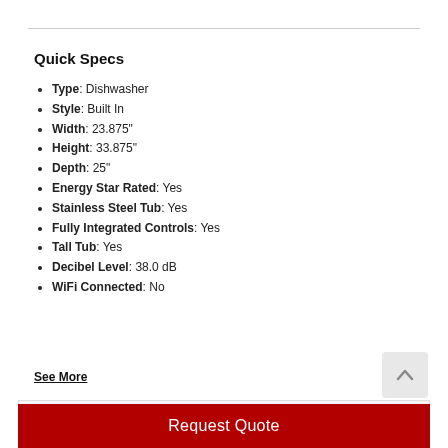Quick Specs
Type: Dishwasher
Style: Built In
Width: 23.875"
Height: 33.875"
Depth: 25"
Energy Star Rated: Yes
Stainless Steel Tub: Yes
Fully Integrated Controls: Yes
Tall Tub: Yes
Decibel Level: 38.0 dB
WiFi Connected: No
See More
Call for Our Best Price
Request Quote